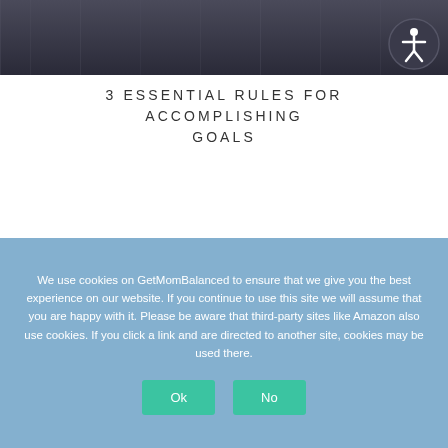[Figure (photo): Dark grey/charcoal textured background image serving as page header banner]
[Figure (illustration): Circular accessibility icon button in top right corner — dark grey circle with white person/wheelchair symbol]
3 ESSENTIAL RULES FOR ACCOMPLISHING GOALS
We use cookies on GetMomBalanced to ensure that we give you the best experience on our website. If you continue to use this site we will assume that you are happy with it. Please be aware that third-party sites like Amazon also use cookies. If you click a link and are directed to another site, cookies may be used there.